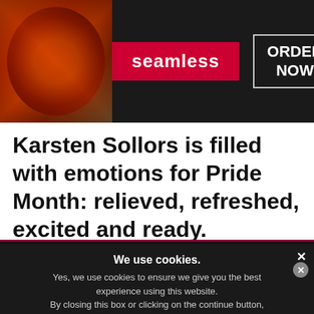[Figure (screenshot): Seamless food delivery advertisement banner with pizza image on left, red Seamless logo badge in center, and ORDER NOW button in white border box on right, on dark background]
Karsten Sollors is filled with emotions for Pride Month: relieved, refreshed, excited and ready.
And he's very, very busy.
So busy, in fact, that the DJ was inter...
We use cookies.
Yes, we use cookies to ensure we give you the best experience using this website.
By closing this box or clicking on the continue button, you agree to our terms of use and consent to the use of